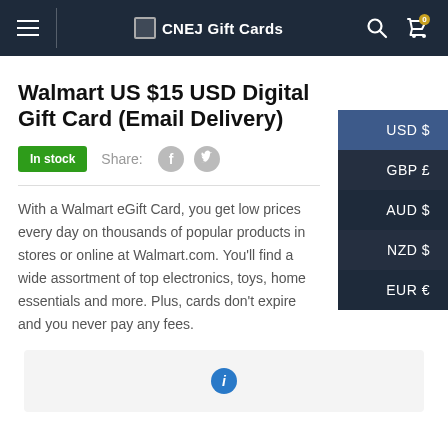CNEJ Gift Cards
Walmart US $15 USD Digital Gift Card (Email Delivery)
In stock  Share:
With a Walmart eGift Card, you get low prices every day on thousands of popular products in stores or online at Walmart.com. You'll find a wide assortment of top electronics, toys, home essentials and more. Plus, cards don't expire and you never pay any fees.
[Figure (infographic): Bottom info card section with a blue info icon]